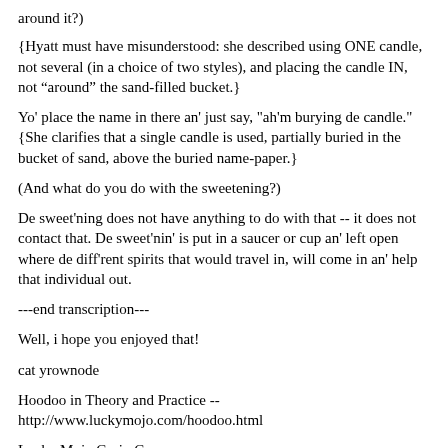around it?)
{Hyatt must have misunderstood: she described using ONE candle, not several (in a choice of two styles), and placing the candle IN, not “around” the sand-filled bucket.}
Yo' place the name in there an' just say, "ah'm burying de candle." {She clarifies that a single candle is used, partially buried in the bucket of sand, above the buried name-paper.}
(And what do you do with the sweetening?)
De sweet'ning does not have anything to do with that -- it does not contact that. De sweet'nin' is put in a saucer or cup an' left open where de diff'rent spirits that would travel in, will come in an' help that individual out.
---end transcription---
Well, i hope you enjoyed that!
cat yrownode
Hoodoo in Theory and Practice -- http://www.luckymojo.com/hoodoo.html
Lucky Mojo Curio Co. http://www.luckymojo.com/luckymojocatalogue.html  Send e-mail with your street address to catalogue@luckymojo.com